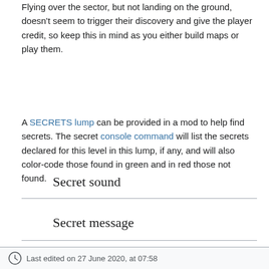Flying over the sector, but not landing on the ground, doesn't seem to trigger their discovery and give the player credit, so keep this in mind as you either build maps or play them.
A SECRETS lump can be provided in a mod to help find secrets. The secret console command will list the secrets declared for this level in this lump, if any, and will also color-code those found in green and in red those not found.
Secret sound
Secret message
Last edited on 27 June 2020, at 07:58